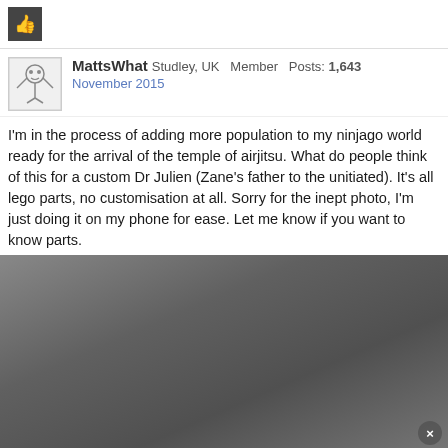MattsWhat Studley, UK Member Posts: 1,643
November 2015
I'm in the process of adding more population to my ninjago world ready for the arrival of the temple of airjitsu. What do people think of this for a custom Dr Julien (Zane's father to the unitiated). It's all lego parts, no customisation at all. Sorry for the inept photo, I'm just doing it on my phone for ease. Let me know if you want to know parts.
[Figure (photo): Dark grey blurred photo, likely a phone photo taken in low light. A close button (x) appears in the bottom right corner.]